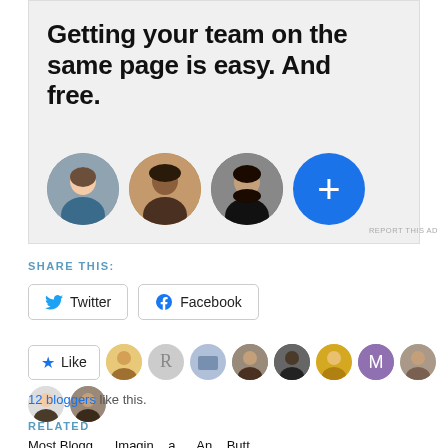[Figure (infographic): Advertisement banner with text 'Getting your team on the same page is easy. And free.' and three circular profile photo avatars plus a blue plus button]
REPORT THIS AD
SHARE THIS:
Twitter  Facebook
Like  [blogger avatars]  12 bloggers like this.
RELATED
Most Blogg...  Imagin... a...  An... Butt...